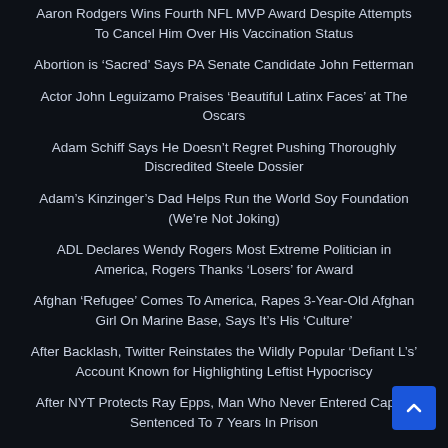Aaron Rodgers Wins Fourth NFL MVP Award Despite Attempts To Cancel Him Over His Vaccination Status
Abortion is ‘Sacred’ Says PA Senate Candidate John Fetterman
Actor John Leguizamo Praises ‘Beautiful Latinx Faces’ at The Oscars
Adam Schiff Says He Doesn’t Regret Pushing Thoroughly Discredited Steele Dossier
Adam’s Kinzinger’s Dad Helps Run the World Soy Foundation (We’re Not Joking)
ADL Declares Wendy Rogers Most Extreme Politician in America, Rogers Thanks ‘Losers’ for Award
Afghan ‘Refugee’ Comes To America, Rapes 3-Year-Old Afghan Girl On Marine Base, Says It’s His ‘Culture’
After Backlash, Twitter Reinstates the Wildly Popular ‘Defiant L’s’ Account Known for Highlighting Leftist Hypocriscy
After NYT Protects Ray Epps, Man Who Never Entered Capitol Sentenced To 7 Years In Prison
After Ottawa Police Cleared Truckers, Canada’s Public...